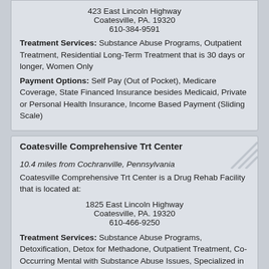423 East Lincoln Highway
Coatesville, PA. 19320
610-384-9591
Treatment Services: Substance Abuse Programs, Outpatient Treatment, Residential Long-Term Treatment that is 30 days or longer, Women Only
Payment Options: Self Pay (Out of Pocket), Medicare Coverage, State Financed Insurance besides Medicaid, Private or Personal Health Insurance, Income Based Payment (Sliding Scale)
Coatesville Comprehensive Trt Center
10.4 miles from Cochranville, Pennsylvania
Coatesville Comprehensive Trt Center is a Drug Rehab Facility that is located at:
1825 East Lincoln Highway
Coatesville, PA. 19320
610-466-9250
Treatment Services: Substance Abuse Programs, Detoxification, Detox for Methadone, Outpatient Treatment, Co-Occurring Mental with Substance Abuse Issues, Specialized in Hiv/Aids Patients, Specialized in Alternative Lifestyle, Seniors/Older Adult Services, Caters to Pregnant/Postpartum Women, Women Only, Men Only, Criminal Justice Client Programs, Spanish Services
Payment Options: Self Pay (Out of Pocket), Medicare Coverage, State Financed Insurance besides Medicaid, Private or Personal